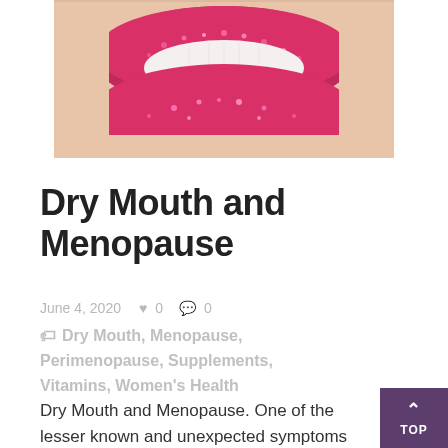[Figure (photo): Close-up photo of a woman's mouth with bright red/pink lips covered in glittery texture, tongue slightly visible, white teeth showing in a smile]
Dry Mouth and Menopause
June 4, 2020  ♥ 0  ● 0
🏷 Dry Mouth, Menopause, Perimenopause, Supplements, Vitamins, Women's Health
Dry Mouth and Menopause. One of the lesser known and unexpected symptoms